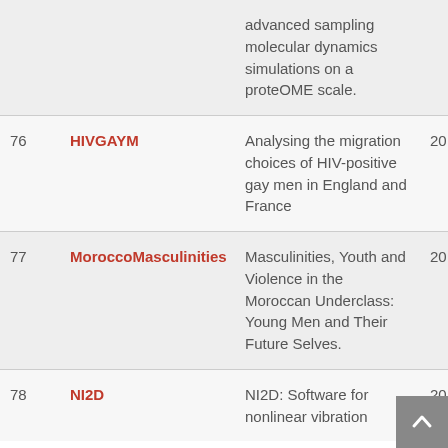| # | Code | Description | Year |
| --- | --- | --- | --- |
|  |  | advanced sampling molecular dynamics simulations on a proteOME scale. |  |
| 76 | HIVGAYM | Analysing the migration choices of HIV-positive gay men in England and France | 20... |
| 77 | MoroccoMasculinities | Masculinities, Youth and Violence in the Moroccan Underclass: Young Men and Their Future Selves. | 20... |
| 78 | NI2D | NI2D: Software for nonlinear vibration | 20... |